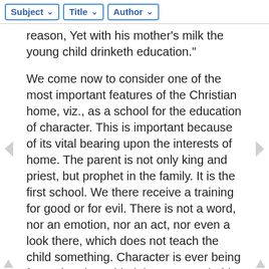Subject | Title | Author
reason, Yet with his mother's milk the young child drinketh education."
We come now to consider one of the most important features of the Christian home, viz., as a school for the education of character. This is important because of its vital bearing upon the interests of home. The parent is not only king and priest, but prophet in the family. It is the first school. We there receive a training for good or for evil. There is not a word, nor an emotion, nor an act, nor even a look there, which does not teach the child something. Character is ever being framed and moulded there. Every habit there formed, and every action there performed, imply a principle which shall enter as an element into the future character of the child.